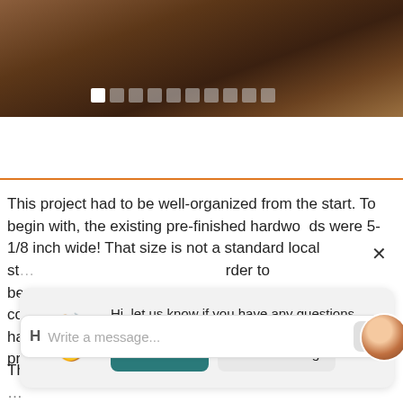[Figure (photo): Photo of dark hardwood flooring with rich brown tones, with carousel navigation dots below]
This project had to be well-organized from the start. To begin with, the existing pre-finished hardwoods were 5-1/8 inch wide! That size is not a standard local st... [text continues] ...rder to be... co... ha... act pr...
[Figure (screenshot): Chat popup overlay with waving hand emoji, text 'Hi, let us know if you have any questions.', a 'Chat now' button in teal and a 'Just browsing' button in light gray]
The new product was delivered to the property and ...